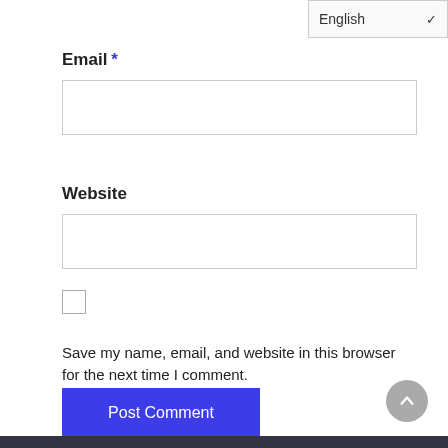English (dropdown)
Email *
[Figure (screenshot): Email text input field, empty, with light border]
Website
[Figure (screenshot): Website text input field, empty, with light border]
Save my name, email, and website in this browser for the next time I comment.
Post Comment
[Figure (other): Scroll to top circular grey button with upward chevron arrow]